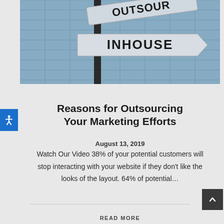[Figure (photo): Street signs showing 'OUTSOURCING' and 'INHOUSE' against a glass building background]
Reasons for Outsourcing Your Marketing Efforts
August 13, 2019
Watch Our Video 38% of your potential customers will stop interacting with your website if they don't like the looks of the layout. 64% of potential…
READ MORE